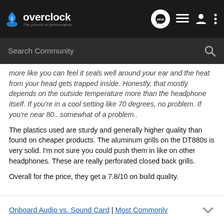overclock — The pursuit of performance
more like you can feel it seals well around your ear and the heat from your head gets trapped inside. Honestly, that mostly depends on the outside temperature more than the headphone itself. If you're in a cool setting like 70 degrees, no problem. If you're near 80...somewhat of a problem..
The plastics used are sturdy and generally higher quality than found on cheaper products. The aluminum grills on the DT880s is very solid. I'm not sure you could push them in like on other headphones. These are really perforated closed back grills.
Overall for the price, they get a 7.8/10 on build quality.
Onboard Audio vs. Sound Card | Most Commonly